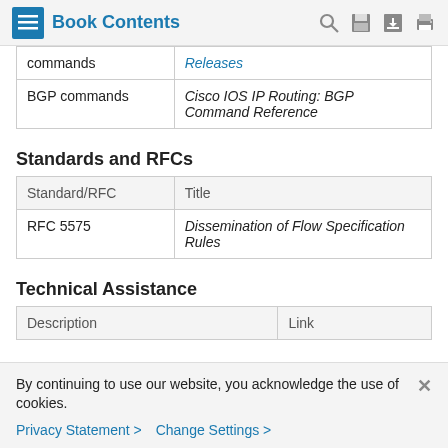Book Contents
| commands | Releases |
| --- | --- |
| BGP commands | Cisco IOS IP Routing: BGP Command Reference |
Standards and RFCs
| Standard/RFC | Title |
| --- | --- |
| RFC 5575 | Dissemination of Flow Specification Rules |
Technical Assistance
| Description | Link |
| --- | --- |
By continuing to use our website, you acknowledge the use of cookies.
Privacy Statement > Change Settings >